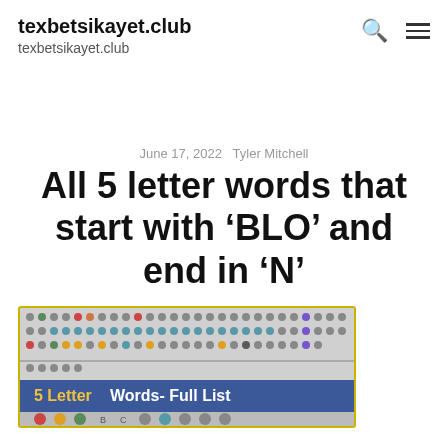texbetsikayet.club
texbetsikayet.club
June 17, 2022   Tyler Mitchell
All 5 letter words that start with 'BLO' and end in 'N'
[Figure (illustration): Word puzzle / Wordle-style grid image with colored dots and a blue banner reading '5 Letter Words- Full List']